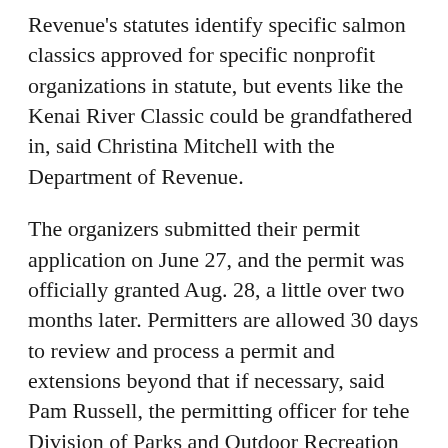Revenue's statutes identify specific salmon classics approved for specific nonprofit organizations in statute, but events like the Kenai River Classic could be grandfathered in, said Christina Mitchell with the Department of Revenue.
The organizers submitted their permit application on June 27, and the permit was officially granted Aug. 28, a little over two months later. Permitters are allowed 30 days to review and process a permit and extensions beyond that if necessary, said Pam Russell, the permitting officer for tehe Division of Parks and Outdoor Recreation in Soldotna.
Shiflea said the chambers were glad to get the permit and continue organizing. The derby will run from Sept. 13–17 and be based on a "magic weight" system — in which anglers can have their fish weighed in